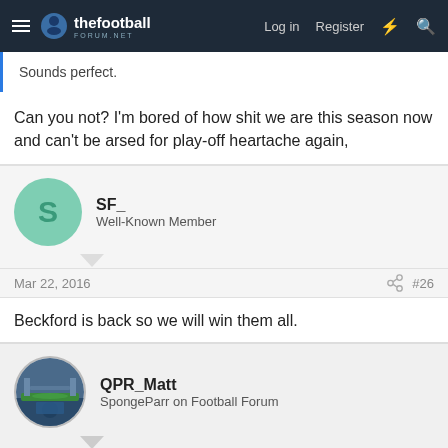thefootballforum.net — Log in  Register
Sounds perfect.
Can you not? I'm bored of how shit we are this season now and can't be arsed for play-off heartache again,
SF_
Well-Known Member
Mar 22, 2016  #26
Beckford is back so we will win them all.
QPR_Matt
SpongeParr on Football Forum